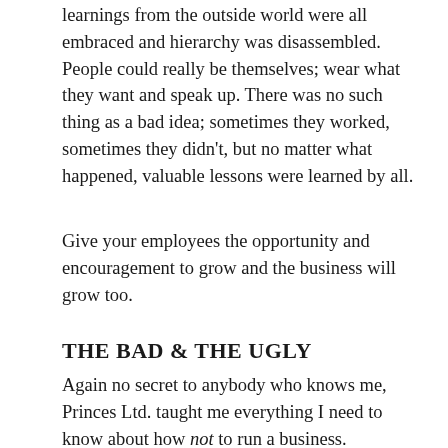learnings from the outside world were all embraced and hierarchy was disassembled. People could really be themselves; wear what they want and speak up. There was no such thing as a bad idea; sometimes they worked, sometimes they didn't, but no matter what happened, valuable lessons were learned by all.
Give your employees the opportunity and encouragement to grow and the business will grow too.
THE BAD & THE UGLY
Again no secret to anybody who knows me, Princes Ltd. taught me everything I need to know about how not to run a business.